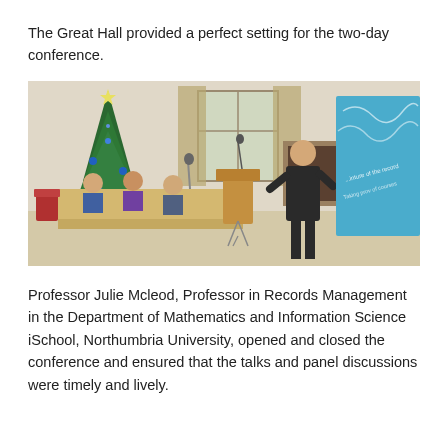The Great Hall provided a perfect setting for the two-day conference.
[Figure (photo): Conference scene in a grand hall: a woman in a dark suit stands at a podium/microphone on the right, presenting to a panel of three men seated at a long table on the left. A decorated Christmas tree is visible in the background along with curtained windows. A blue projection screen with text is visible on the far right.]
Professor Julie Mcleod, Professor in Records Management in the Department of Mathematics and Information Science iSchool, Northumbria University, opened and closed the conference and ensured that the talks and panel discussions were timely and lively.